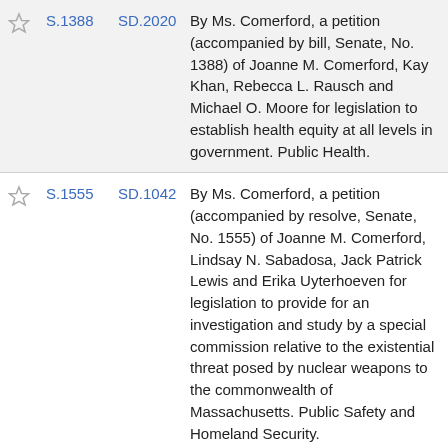|  | Bill | SD | Description |
| --- | --- | --- | --- |
| ★ | S.1388 | SD.2020 | By Ms. Comerford, a petition (accompanied by bill, Senate, No. 1388) of Joanne M. Comerford, Kay Khan, Rebecca L. Rausch and Michael O. Moore for legislation to establish health equity at all levels in government. Public Health. |
| ★ | S.1555 | SD.1042 | By Ms. Comerford, a petition (accompanied by resolve, Senate, No. 1555) of Joanne M. Comerford, Lindsay N. Sabadosa, Jack Patrick Lewis and Erika Uyterhoeven for legislation to provide for an investigation and study by a special commission relative to the existential threat posed by nuclear weapons to the commonwealth of Massachusetts. Public Safety and Homeland Security. |